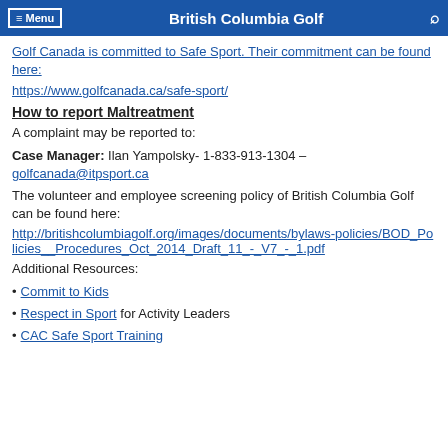≡ Menu | British Columbia Golf | 🔍
Golf Canada is committed to Safe Sport. Their commitment can be found here:
https://www.golfcanada.ca/safe-sport/
How to report Maltreatment
A complaint may be reported to:
Case Manager: Ilan Yampolsky- 1-833-913-1304 – golfcanada@itpsport.ca
The volunteer and employee screening policy of British Columbia Golf can be found here:
http://britishcolumbiagolf.org/images/documents/bylaws-policies/BOD_Policies__Procedures_Oct_2014_Draft_11_-_V7_-_1.pdf
Additional Resources:
• Commit to Kids
• Respect in Sport for Activity Leaders
• CAC Safe Sport Training